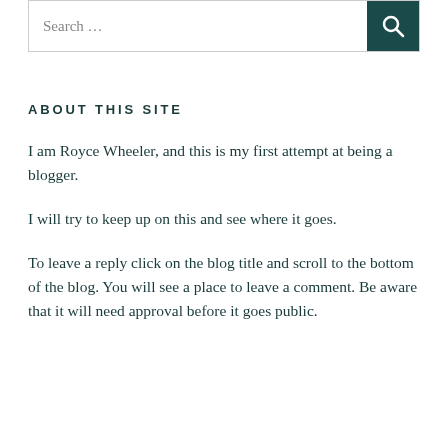[Figure (screenshot): Search bar with text input reading 'Search ...' and a dark teal search button with a magnifying glass icon on the right]
ABOUT THIS SITE
I am Royce Wheeler, and this is my first attempt at being a blogger.
I will try to keep up on this and see where it goes.
To leave a reply click on the blog title and scroll to the bottom of the blog. You will see a place to leave a comment. Be aware that it will need approval before it goes public.